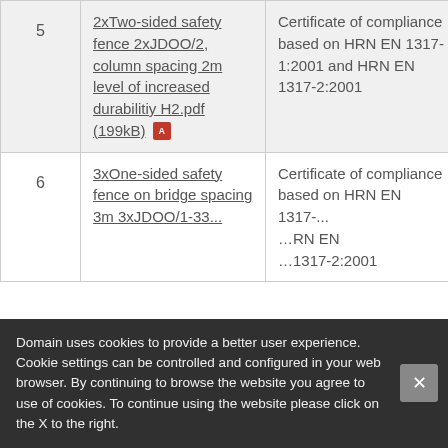| # | Document | Certificate type |  |
| --- | --- | --- | --- |
| 5 | 2xTwo-sided safety fence 2xJDOO/2, column spacing 2m level of increased durabilitiy H2.pdf (199kB) | Certificate of compliance based on HRN EN 1317-1:2001 and HRN EN 1317-2:2001 | 25 |
| 6 | 3xOne-sided safety fence on bridge... | Certificate of compliance based on HRN EN 1317-... | 25 |
Domain uses cookies to provide a better user experience. Cookie settings can be controlled and configured in your web browser. By continuing to browse the website you agree to use of cookies. To continue using the website please click on the X to the right.